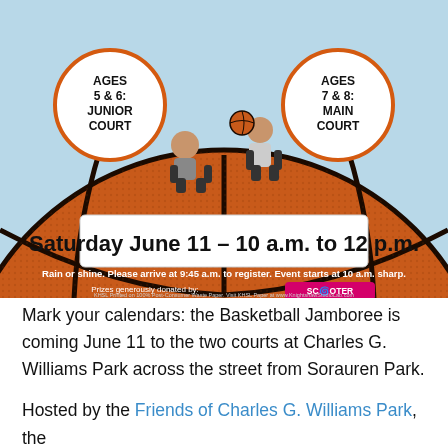[Figure (illustration): Basketball Jamboree event poster featuring a large orange basketball with two illustrated children sitting on top playing with a basketball. Left side has a circle badge reading 'AGES 5 & 6: JUNIOR COURT'. Right side has a circle badge reading 'AGES 7 & 8: MAIN COURT'. Bottom text reads 'Saturday June 11 – 10 a.m. to 12 p.m.' with sub-text about rain or shine and Scooter Girl Toys prize sponsorship. Light blue background.]
Mark your calendars: the Basketball Jamboree is coming June 11 to the two courts at Charles G. Williams Park across the street from Sorauren Park.
Hosted by the Friends of Charles G. Williams Park, the